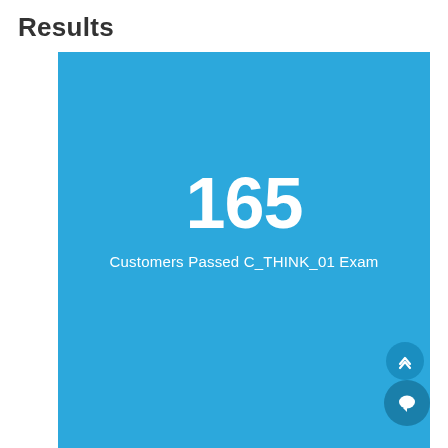Results
[Figure (infographic): Blue card showing the statistic: 165 Customers Passed C_THINK_01 Exam, with a scroll-to-top button and chat button overlaid at bottom right.]